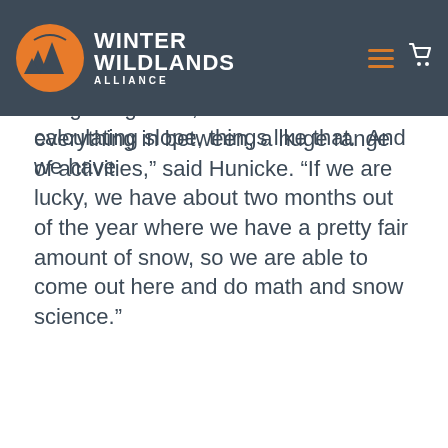way up to 12th grade, where they are doing surveys, integrating math, calculating slope, things like that.  And we have everything in between, a huge range of activities,” said Hunicke. “If we are lucky, we have about two months out of the year where we have a pretty fair amount of snow, so we are able to come out here and do math and snow science.”
Winter Wildlands Alliance